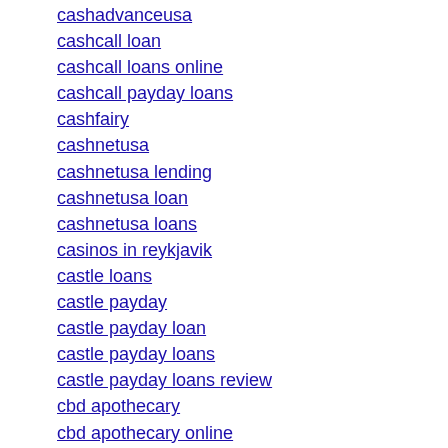cashadvanceusa
cashcall loan
cashcall loans online
cashcall payday loans
cashfairy
cashnetusa
cashnetusa lending
cashnetusa loan
cashnetusa loans
casinos in reykjavik
castle loans
castle payday
castle payday loan
castle payday loans
castle payday loans review
cbd apothecary
cbd apothecary online
cheap car hire